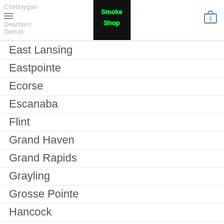Cheboygan | Dearborn | Detroit — Smoke Shop navigation header
East Lansing
Eastpointe
Ecorse
Escanaba
Flint
Grand Haven
Grand Rapids
Grayling
Grosse Pointe
Hancock
Highland Park
Holland
Houghton
Interlochen
Iron Mountain (partial)